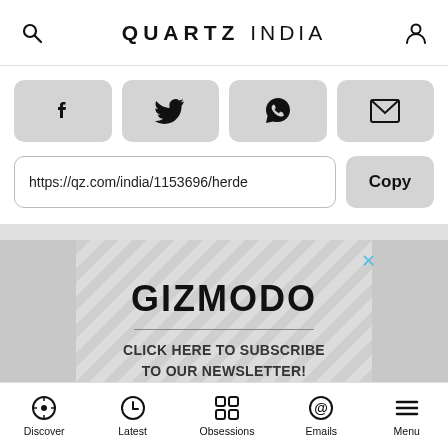QUARTZ INDIA
[Figure (screenshot): Social share buttons row: Facebook, Twitter, WhatsApp, Email]
https://qz.com/india/1153696/herde
Copy
[Figure (screenshot): Gizmodo advertisement: GIZMODO - CLICK HERE TO SUBSCRIBE TO OUR NEWSLETTER!]
Discover  Latest  Obsessions  Emails  Menu